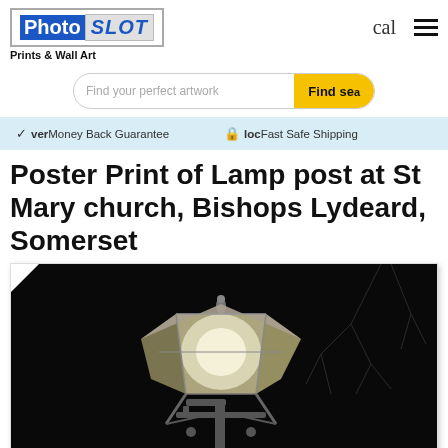[Figure (logo): PhotoSLOT logo with blue Photo text and outlined SLOT text]
cal  ☰
Prints & Wall Art
[Figure (screenshot): Search bar with placeholder 'Find your perfect artwork' and yellow 'Find se' button]
verMoney Back Guarantee     locFast Safe Shipping
Poster Print of Lamp post at St Mary church, Bishops Lydeard, Somerset
[Figure (photo): Photograph of a lamp post at St Mary church, Bishops Lydeard, Somerset — close-up of a metal lantern light against a dark night sky with bare tree branches in the background]